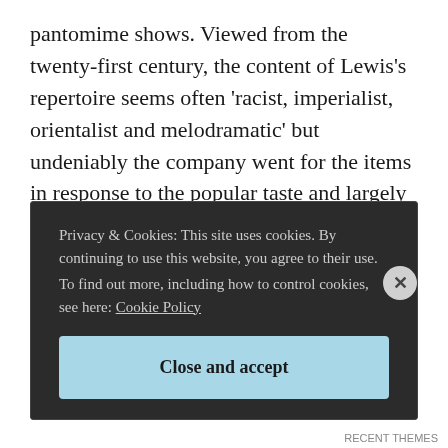pantomime shows. Viewed from the twenty-first century, the content of Lewis's repertoire seems often 'racist, imperialist, orientalist and melodramatic' but undeniably the company went for the items in response to the popular taste and largely noncommittal attitudes of London and Melbourne. This kind of 'popular theatre' can be seen as a transition phase between the formal stage play of the mid-century and the realist drama of the late
Privacy & Cookies: This site uses cookies. By continuing to use this website, you agree to their use.
To find out more, including how to control cookies, see here: Cookie Policy
Close and accept